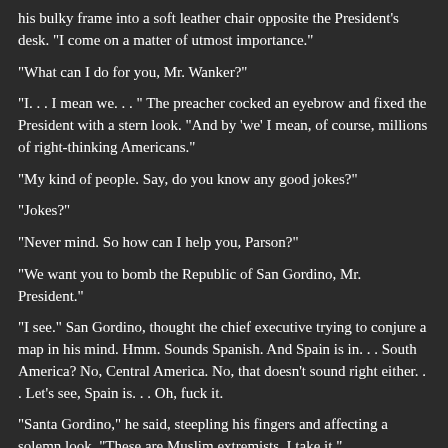his bulky frame into a soft leather chair opposite the President's desk. "I come on a matter of utmost importance."
"What can I do for you, Mr. Wanker?"
"I. . . I mean we. . . " The preacher cocked an eyebrow and fixed the President with a stern look. "And by 'we' I mean, of course, millions of right-thinking Americans."
"My kind of people. Say, do you know any good jokes?"
"Jokes?"
"Never mind. So how can I help you, Parson?"
"We want you to bomb the Republic of San Gordino, Mr. President."
"I see." San Gordino, thought the chief executive trying to conjure a map in his mind. Hmm. Sounds Spanish. And Spain is in. . . South America? No, Central America. No, that doesn't sound right either. . . Let's see, Spain is. . . Oh, fuck it.
"Santa Gordino," he said, steepling his fingers and affecting a solemn look. "These are Muslim extremists, I take it."